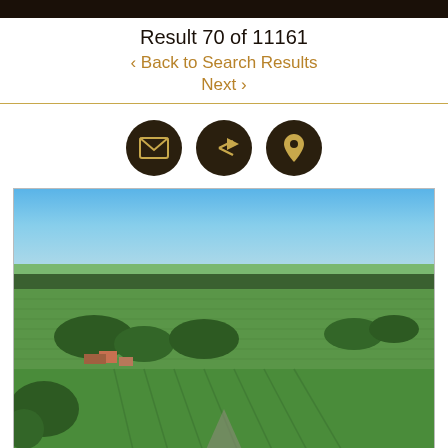Result 70 of 11161
< Back to Search Results
Next >
[Figure (infographic): Three circular dark brown icon buttons: envelope/email icon, share/forward arrow icon, and map pin/location icon]
[Figure (photo): Aerial drone photograph of rural farmland with green fields, crop rows, scattered trees, farm buildings, and intersecting roads under a blue sky]